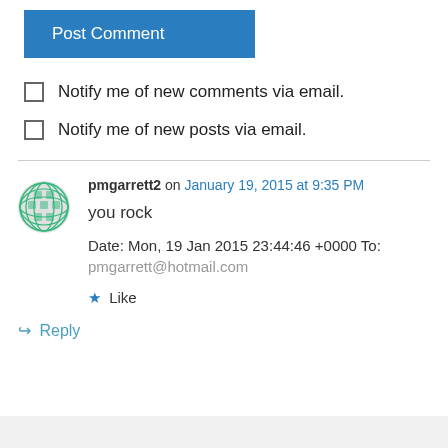Post Comment
Notify me of new comments via email.
Notify me of new posts via email.
pmgarrett2 on January 19, 2015 at 9:35 PM
you rock
Date: Mon, 19 Jan 2015 23:44:46 +0000 To:
pmgarrett@hotmail.com
Like
Reply